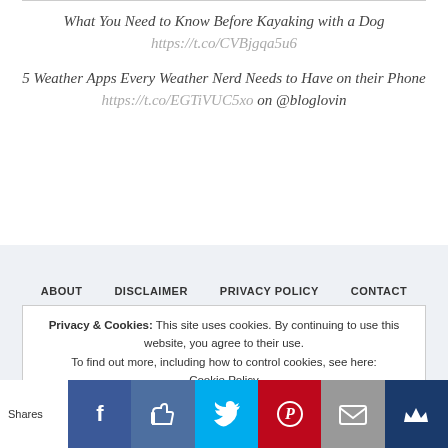What You Need to Know Before Kayaking with a Dog https://t.co/CVBjgqa5u6
5 Weather Apps Every Weather Nerd Needs to Have on their Phone https://t.co/EGTiVUC5xo on @bloglovin
ABOUT  DISCLAIMER  PRIVACY POLICY  CONTACT
Privacy & Cookies: This site uses cookies. By continuing to use this website, you agree to their use. To find out more, including how to control cookies, see here: Cookie Policy
CO  BY